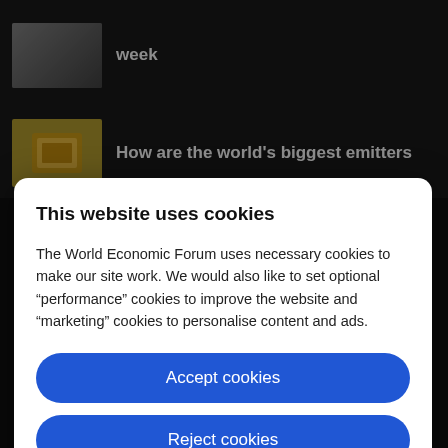[Figure (screenshot): Background showing a dark website with article thumbnails and headlines]
This website uses cookies
The World Economic Forum uses necessary cookies to make our site work. We would also like to set optional “performance” cookies to improve the website and “marketing” cookies to personalise content and ads.
Accept cookies
Reject cookies
Cookie settings